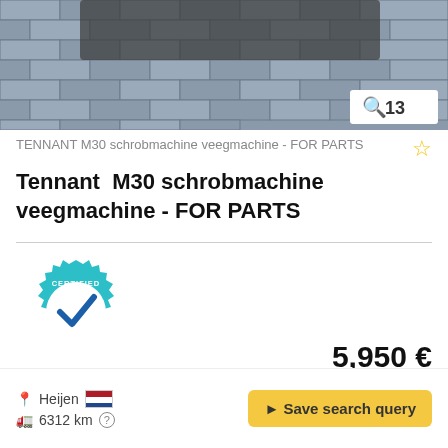[Figure (photo): Top portion of a machine (floor scrubber/sweeper) on brick pavement, with a search/zoom icon showing '13' in the bottom right corner]
TENNANT M30 schrobmachine veegmachine - FOR PARTS
Tennant M30 schrobmachine veegmachine - FOR PARTS
[Figure (logo): Certified Dealer badge - teal gear shape with a blue checkmark in the center and text 'CERTIFIED DEALER']
5,950 €
Fixed price plus VAT
Send inquiry
Call
Heijen
6312 km
Save search query